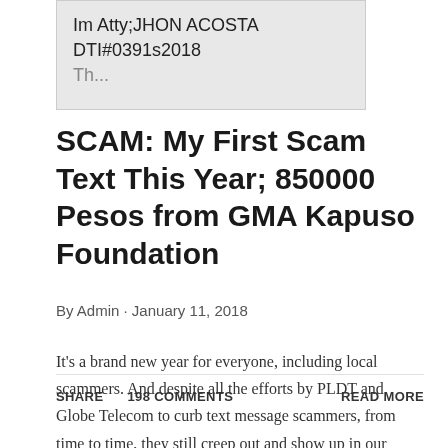[Figure (screenshot): Screenshot of a text message or chat showing: 'Im Atty;JHON ACOSTA DTI#0391s2018' with partial text below]
SCAM: My First Scam Text This Year; 850000 Pesos from GMA Kapuso Foundation
By Admin · January 11, 2018
It's a brand new year for everyone, including local scammers. And despite all the efforts by PLDT and Globe Telecom to curb text message scammers, from time to time, they still creep out and show up in our inboxes. An ...
SHARE    198 COMMENTS    READ MORE